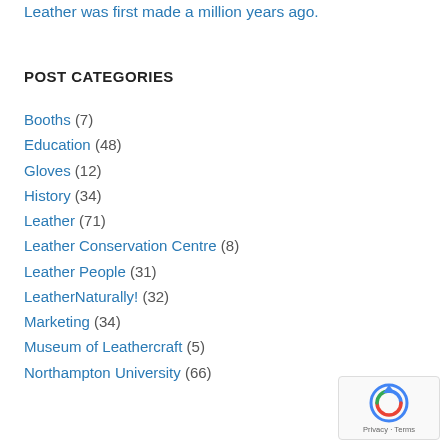Leather was first made a million years ago.
POST CATEGORIES
Booths (7)
Education (48)
Gloves (12)
History (34)
Leather (71)
Leather Conservation Centre (8)
Leather People (31)
LeatherNaturally! (32)
Marketing (34)
Museum of Leathercraft (5)
Northampton University (66)